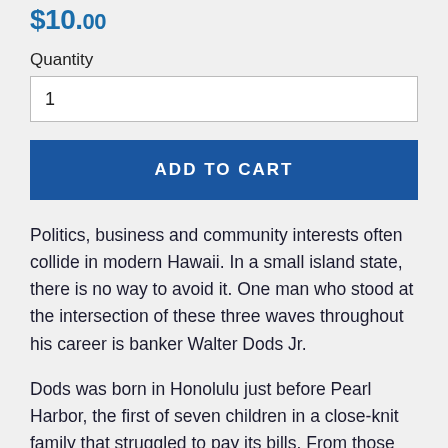$10.00 (price partially visible)
Quantity
1
ADD TO CART
Politics, business and community interests often collide in modern Hawaii. In a small island state, there is no way to avoid it. One man who stood at the intersection of these three waves throughout his career is banker Walter Dods Jr.
Dods was born in Honolulu just before Pearl Harbor, the first of seven children in a close-knit family that struggled to pay its bills. From those modest